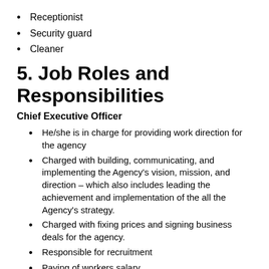Receptionist
Security guard
Cleaner
5. Job Roles and Responsibilities
Chief Executive Officer
He/she is in charge for providing work direction for the agency
Charged with building, communicating, and implementing the Agency's vision, mission, and direction – which also includes leading the achievement and implementation of the all the Agency's strategy.
Charged with fixing prices and signing business deals for the agency.
Responsible for recruitment
Paying of workers salary
Signing checks and documents for and on behalf of the agency